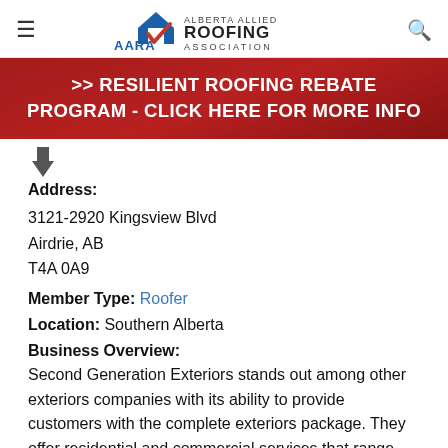Alberta Allied Roofing Association (AARA) logo with hamburger menu and search icon
>> RESILIENT ROOFING REBATE PROGRAM - CLICK HERE FOR MORE INFO
Address:
3121-2920 Kingsview Blvd
Airdrie, AB
T4A 0A9
Member Type: Roofer
Location: Southern Alberta
Business Overview:
Second Generation Exteriors stands out among other exteriors companies with its ability to provide customers with the complete exteriors package. They offer residential and commercial services that range